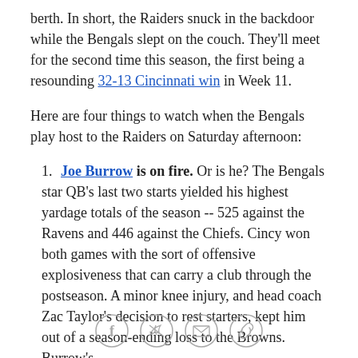berth. In short, the Raiders snuck in the backdoor while the Bengals slept on the couch. They'll meet for the second time this season, the first being a resounding 32-13 Cincinnati win in Week 11.
Here are four things to watch when the Bengals play host to the Raiders on Saturday afternoon:
1. Joe Burrow is on fire. Or is he? The Bengals star QB's last two starts yielded his highest yardage totals of the season -- 525 against the Ravens and 446 against the Chiefs. Cincy won both games with the sort of offensive explosiveness that can carry a club through the postseason. A minor knee injury, and head coach Zac Taylor's decision to rest starters, kept him out of a season-ending loss to the Browns. Burrow's
[Social share icons: Facebook, Twitter, Email, Link]